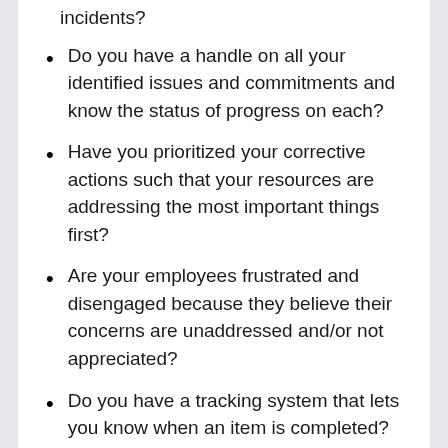incidents?
Do you have a handle on all your identified issues and commitments and know the status of progress on each?
Have you prioritized your corrective actions such that your resources are addressing the most important things first?
Are your employees frustrated and disengaged because they believe their concerns are unaddressed and/or not appreciated?
Do you have a tracking system that lets you know when an item is completed?
Do some of your corrective actions appear in multiple tracking systems leading to